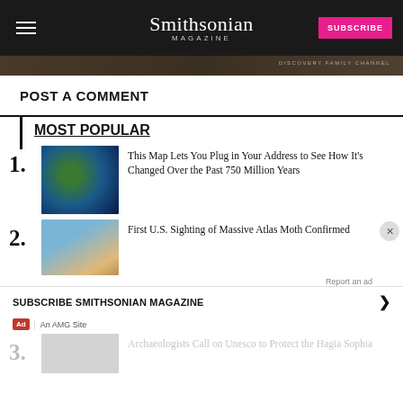Smithsonian MAGAZINE | SUBSCRIBE
[Figure (photo): Bottom strip of a nature/outdoor hero image with Discovery Channel watermark]
POST A COMMENT
MOST POPULAR
1. This Map Lets You Plug in Your Address to See How It's Changed Over the Past 750 Million Years
2. First U.S. Sighting of Massive Atlas Moth Confirmed
Report an ad
SUBSCRIBE SMITHSONIAN MAGAZINE ❯
Ad | An AMG Site
3. Archaeologists Call on Unesco to Protect the Hagia Sophia